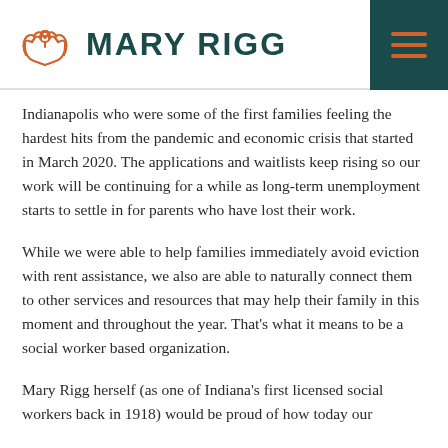MARY RIGG
Indianapolis who were some of the first families feeling the hardest hits from the pandemic and economic crisis that started in March 2020. The applications and waitlists keep rising so our work will be continuing for a while as long-term unemployment starts to settle in for parents who have lost their work.
While we were able to help families immediately avoid eviction with rent assistance, we also are able to naturally connect them to other services and resources that may help their family in this moment and throughout the year. That's what it means to be a social worker based organization.
Mary Rigg herself (as one of Indiana's first licensed social workers back in 1918) would be proud of how today our